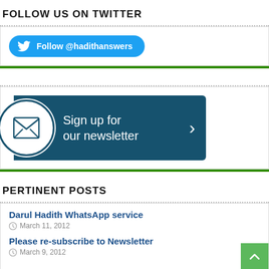FOLLOW US ON TWITTER
[Figure (other): Twitter follow button with bird icon: Follow @hadithanswers]
[Figure (other): Newsletter sign-up banner with envelope icon: Sign up for our newsletter with arrow]
PERTINENT POSTS
Darul Hadith WhatsApp service — March 11, 2012
Please re-subscribe to Newsletter — March 9, 2012